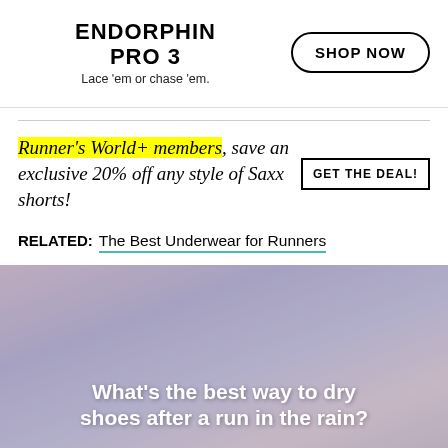[Figure (infographic): Advertisement banner for Endorphin Pro 3 with 'SHOP NOW' button and tagline 'Lace 'em or chase 'em.']
Runner's World+ members, save an exclusive 20% off any style of Saxx shorts! GET THE DEAL!
RELATED: The Best Underwear for Runners
[Figure (photo): Photo of a runner tying shoes with overlaid text: What's the best way to dry shoes after a run in the rain?]